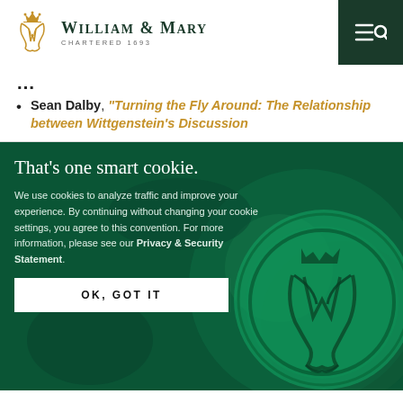William & Mary — Chartered 1693
Sean Dalby, "Turning the Fly Around: The Relationship between Wittgenstein's Discussion"
That's one smart cookie.
We use cookies to analyze traffic and improve your experience. By continuing without changing your cookie settings, you agree to this convention. For more information, please see our Privacy & Security Statement.
OK, GOT IT